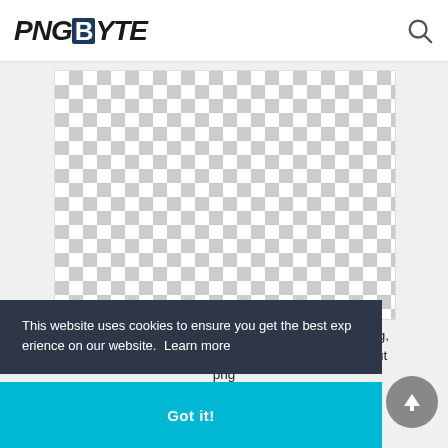PNGBYTE
[Figure (screenshot): Transparent checkerboard PNG preview area — white and light gray squares in a grid pattern representing a transparent PNG background]
People Walking Dogs Png, Group People Walking Png, people Cutout, Cut Out People, tree cutout,tree cutout png
This website uses cookies to ensure you get the best experience on our website. Learn more
Got it!